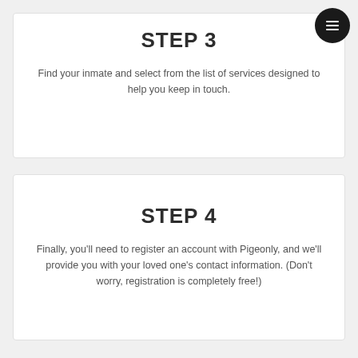[Figure (other): Dark circular menu button with hamburger icon in top right corner]
STEP 3
Find your inmate and select from the list of services designed to help you keep in touch.
STEP 4
Finally, you'll need to register an account with Pigeonly, and we'll provide you with your loved one's contact information. (Don't worry, registration is completely free!)